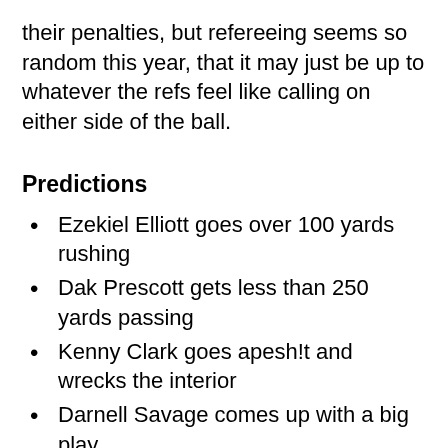their penalties, but refereeing seems so random this year, that it may just be up to whatever the refs feel like calling on either side of the ball.
Predictions
Ezekiel Elliott goes over 100 yards rushing
Dak Prescott gets less than 250 yards passing
Kenny Clark goes apesh!t and wrecks the interior
Darnell Savage comes up with a big play
Aaron Rodgers gets more passing yards than Dak Prescott
Jake Kumerow gets less than 50 yards receiving